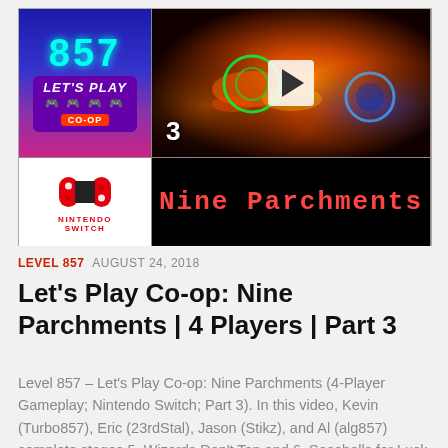[Figure (screenshot): YouTube-style video thumbnail grid. Top-left: purple/blue gradient with 'LEVEL 857' and 'LET'S PLAY CO-OP' branding. Top-right: game screenshot from Nine Parchments with play button and number 3. Bottom-left: Nintendo Switch logo. Bottom-right: black background with 'Nine Parchments' title in red pixel font.]
LEVEL 857  AUGUST 24, 2018
Let's Play Co-op: Nine Parchments | 4 Players | Part 3
Level 857 – Let's Play Co-op: Nine Parchments (4-Player Gameplay; Nintendo Switch; Part 3). In this video, Kevin (Turbo857), Eric (23rdStal), Jason (Stikz), and Al (alg857) complete stages 5. Wizards Don't Tan and 6. Seashells for Luck in Frozenbyte's, underrated...